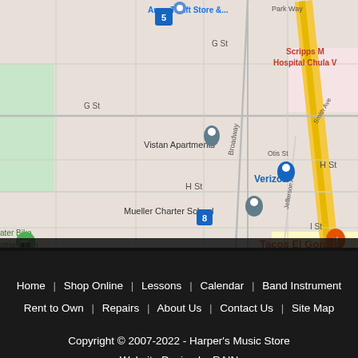[Figure (map): Google Maps screenshot showing Chula Vista area near H Street and I-5 freeway, featuring landmarks: Army Thrift Store, Vistan Apartments, Verizon, Tacos El Gordo, Olive Garden, Mueller Charter School, Scripps Mercy Hospital Chula Vista, and a bicycle/pedestrian path.]
Home | Shop Online | Lessons | Calendar | Band Instrument Rent to Own | Repairs | About Us | Contact Us | Site Map
Copyright © 2007-2022 - Harper's Music Store
Website Design by RAIN